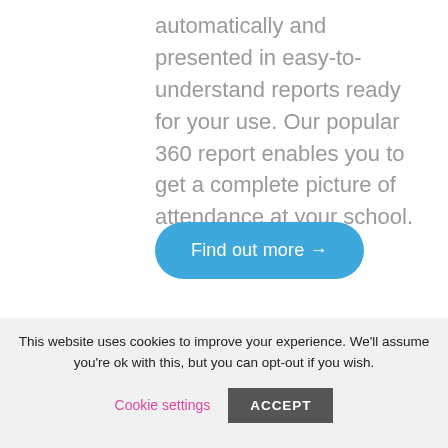automatically and presented in easy-to-understand reports ready for your use. Our popular 360 report enables you to get a complete picture of attendance at your school.
Find out more →
This website uses cookies to improve your experience. We'll assume you're ok with this, but you can opt-out if you wish.
Cookie settings
ACCEPT